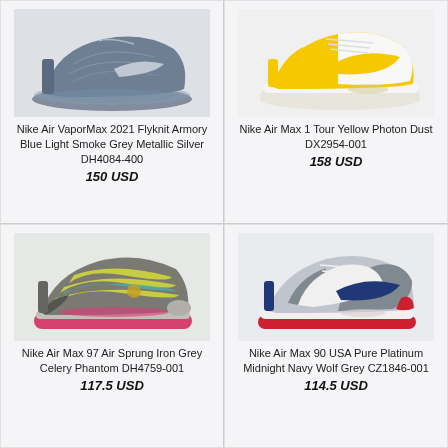[Figure (photo): Nike Air VaporMax 2021 Flyknit in Armory Blue Light Smoke Grey Metallic Silver colorway, side profile view on light background]
Nike Air VaporMax 2021 Flyknit Armory Blue Light Smoke Grey Metallic Silver DH4084-400
150 USD
[Figure (photo): Nike Air Max 1 Tour Yellow Photon Dust colorway, white and yellow sneaker, side profile view on light background]
Nike Air Max 1 Tour Yellow Photon Dust DX2954-001
158 USD
[Figure (photo): Nike Air Max 97 Air Sprung Iron Grey Celery Phantom colorway, multicolor wavy stripes sneaker, side profile view on light background]
Nike Air Max 97 Air Sprung Iron Grey Celery Phantom DH4759-001
117.5 USD
[Figure (photo): Nike Air Max 90 USA Pure Platinum Midnight Navy Wolf Grey colorway, grey and navy sneaker with red accents, side profile view on light background]
Nike Air Max 90 USA Pure Platinum Midnight Navy Wolf Grey CZ1846-001
114.5 USD